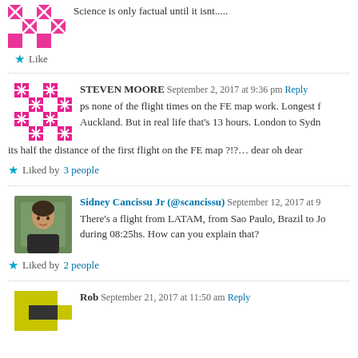Science is only factual until it isnt.....
Like
STEVEN MOORE September 2, 2017 at 9:36 pm Reply
ps none of the flight times on the FE map work. Longest f... Auckland. But in real life that's 13 hours. London to Sydn... its half the distance of the first flight on the FE map ?!?… dear oh dear
Liked by 3 people
Sidney Cancissu Jr (@scancissu) September 12, 2017 at 9:...
There's a flight from LATAM, from Sao Paulo, Brazil to Jo... during 08:25hs. How can you explain that?
Liked by 2 people
Rob September 21, 2017 at 11:50 am Reply